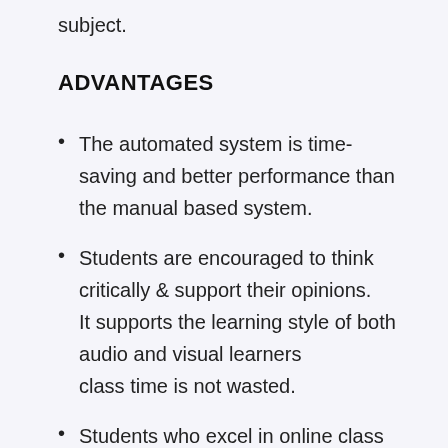subject.
ADVANTAGES
The automated system is time-saving and better performance than the manual based system.
Students are encouraged to think critically & support their opinions. It supports the learning style of both audio and visual learners class time is not wasted.
Students who excel in online class